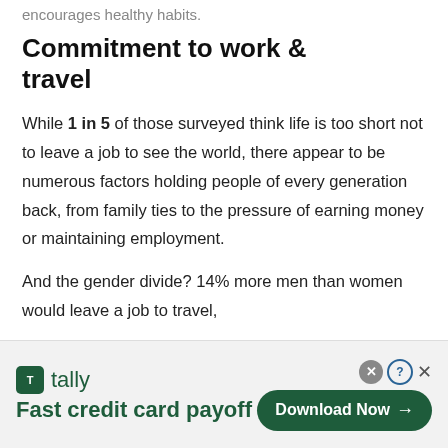encourages healthy habits.
Commitment to work & travel
While 1 in 5 of those surveyed think life is too short not to leave a job to see the world, there appear to be numerous factors holding people of every generation back, from family ties to the pressure of earning money or maintaining employment.
And the gender divide? 14% more men than women would leave a job to travel,
[Figure (other): Advertisement banner for Tally app: 'Fast credit card payoff' with a Download Now button]